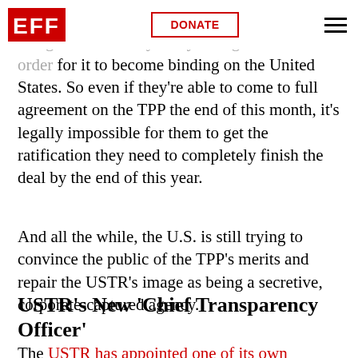EFF | DONATE
From there, he would still need to convince Congress to actually ratify the agreement in order for it to become binding on the United States. So even if they're able to come to full agreement on the TPP the end of this month, it's legally impossible for them to get the ratification they need to completely finish the deal by the end of this year.
And all the while, the U.S. is still trying to convince the public of the TPP's merits and repair the USTR's image as being a secretive, corporate-captured agency.
USTR's New 'Chief Transparency Officer'
The USTR has appointed one of its own leading